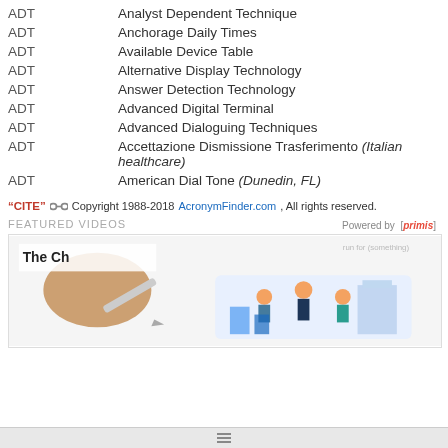ADT   Analyst Dependent Technique
ADT   Anchorage Daily Times
ADT   Available Device Table
ADT   Alternative Display Technology
ADT   Answer Detection Technology
ADT   Advanced Digital Terminal
ADT   Advanced Dialoguing Techniques
ADT   Accettazione Dismissione Trasferimento (Italian healthcare)
ADT   American Dial Tone (Dunedin, FL)
"CITE" [link] Copyright 1988-2018 AcronymFinder.com, All rights reserved.
FEATURED VIDEOS   Powered by [primis]   run for (something)
[Figure (screenshot): Video panel showing 'The Ch...' title with a hand holding a pen and illustrated business scene with figures and charts]